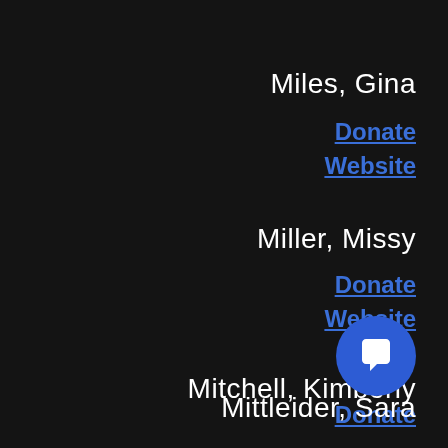Miles, Gina
Donate
Website
Miller, Missy
Donate
Website
Mitchell, Kimberly
Donate
Mittleider, Sara